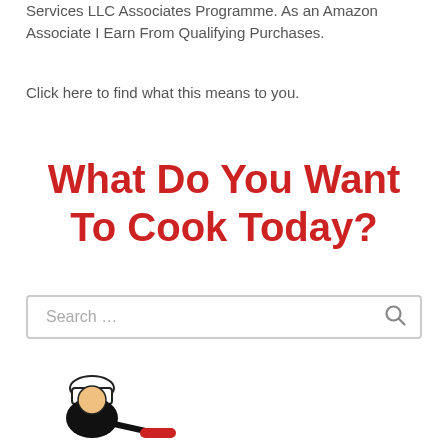Services LLC Associates Programme. As an Amazon Associate I Earn From Qualifying Purchases.
Click here to find what this means to you.
What Do You Want To Cook Today?
[Figure (other): Search box with placeholder text 'Search ...' and a magnifying glass icon]
[Figure (illustration): Chef logo illustration showing a cartoon chef character in black, white, and red at the bottom of the page]